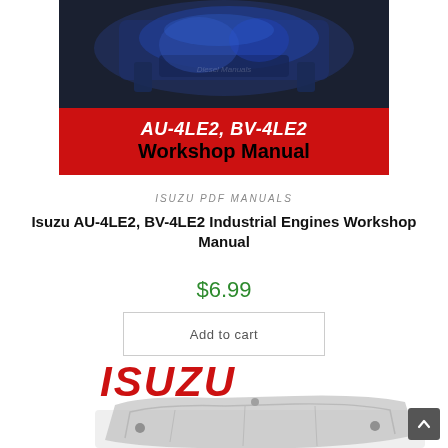[Figure (photo): Blue industrial engine/gearbox photo with watermark, shown against dark background, with red banner overlay reading AU-4LE2, BV-4LE2 Workshop Manual]
ISUZU PDF MANUALS
Isuzu AU-4LE2, BV-4LE2 Industrial Engines Workshop Manual
$6.99
Add to cart
[Figure (logo): ISUZU logo in red italic bold text, followed by partial photo of a grey engine component/bracket]
[Figure (other): Scroll-to-top button in grey at bottom right]